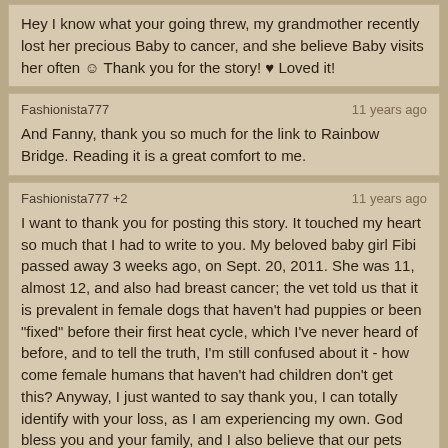Hey I know what your going threw, my grandmother recently lost her precious Baby to cancer, and she believe Baby visits her often ☺ Thank you for the story! ♥ Loved it!
Fashionista777 | 11 years ago
And Fanny, thank you so much for the link to Rainbow Bridge. Reading it is a great comfort to me.
Fashionista777 +2 | 11 years ago
I want to thank you for posting this story. It touched my heart so much that I had to write to you. My beloved baby girl Fibi passed away 3 weeks ago, on Sept. 20, 2011. She was 11, almost 12, and also had breast cancer; the vet told us that it is prevalent in female dogs that haven't had puppies or been "fixed" before their first heat cycle, which I've never heard of before, and to tell the truth, I'm still confused about it - how come female humans that haven't had children don't get this? Anyway, I just wanted to say thank you, I can totally identify with your loss, as I am experiencing my own. God bless you and your family, and I also believe that our pets are still in existence after they pass. I believe that if someone, anyone, whether